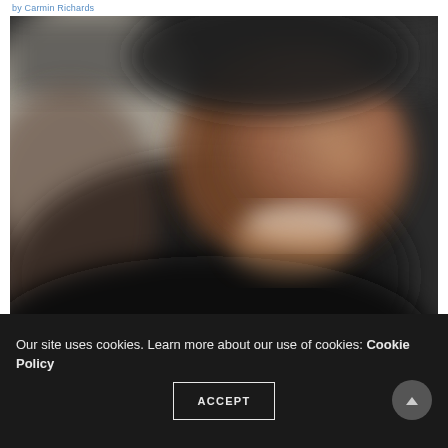by Carmin Richards
[Figure (photo): A close-up blurred photograph of a person's face with dark background. The person appears to be smiling, showing teeth. The image is heavily blurred/out of focus.]
Our site uses cookies. Learn more about our use of cookies: Cookie Policy
ACCEPT